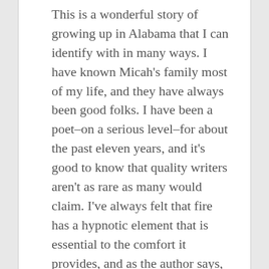This is a wonderful story of growing up in Alabama that I can identify with in many ways. I have known Micah's family most of my life, and they have always been good folks. I have been a poet–on a serious level–for about the past eleven years, and it's good to know that quality writers aren't as rare as many would claim. I've always felt that fire has a hypnotic element that is essential to the comfort it provides, and as the author says, electric heaters distance us from that element. It's good to know the source of warmth, to see that source, and to be able to tell the story of our body's rumination in its spell.